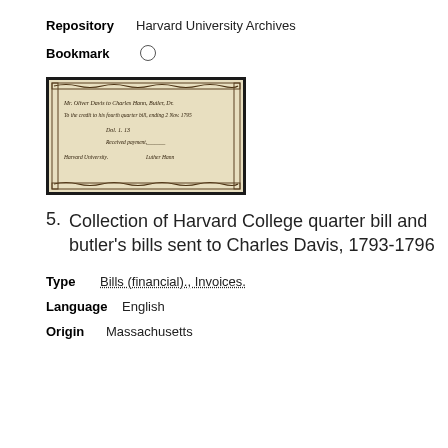Repository   Harvard University Archives
Bookmark   ○
[Figure (photo): Photograph of a historical Harvard College quarter bill document with decorative border, handwritten text, circa 1793-1796]
5.  Collection of Harvard College quarter bill and butler's bills sent to Charles Davis, 1793-1796
Type   Bills (financial)., Invoices.
Language   English
Origin   Massachusetts